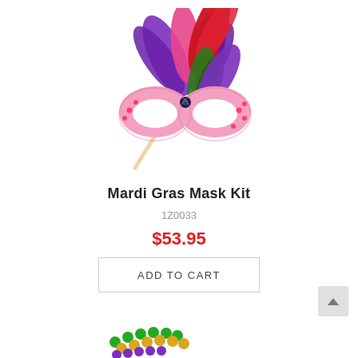[Figure (photo): A pink masquerade/Mardi Gras mask on a stick decorated with colorful feathers (purple, red/pink, green) and jewel embellishments]
Mardi Gras Mask Kit
1Z0033
$53.95
ADD TO CART
[Figure (photo): Partial view of Mardi Gras bead necklaces (green, gold, purple) at the bottom of the page]